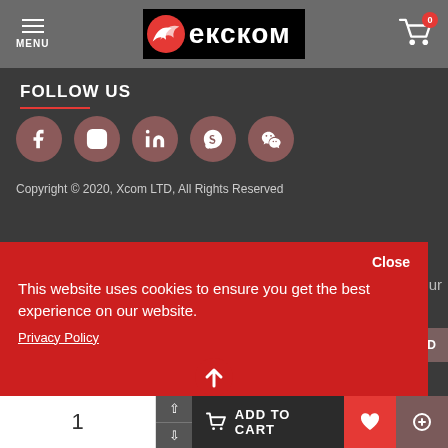[Figure (logo): Ekckom (Xcom) website header with hamburger menu, logo, and cart icon with 0 badge]
FOLLOW US
[Figure (infographic): Row of 5 social media icons: Facebook, Instagram, LinkedIn, Skype, WeChat in dark red circles]
Copyright © 2020, Xcom LTD, All Rights Reserved
[Figure (screenshot): Cookie consent banner in red: Close button, message, Privacy Policy link, Preferences and Accept buttons]
[Figure (infographic): Bottom bar: quantity selector with 1, up/down arrows, ADD TO CART button, heart/compare icons]